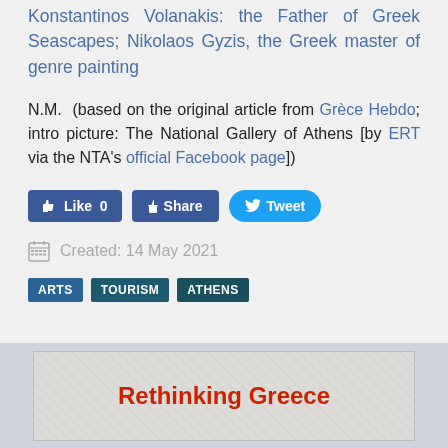Konstantinos Volanakis: the Father of Greek Seascapes; Nikolaos Gyzis, the Greek master of genre painting
N.M. (based on the original article from Grèce Hebdo; intro picture: The National Gallery of Athens [by ERT via the NTA's official Facebook page])
[Figure (infographic): Social media buttons: Like 0 (Facebook blue), Share (Facebook blue), Tweet (Twitter blue)]
Created: 14 May 2021
ARTS   TOURISM   ATHENS
[Figure (screenshot): Rethinking Greece banner/advertisement image]